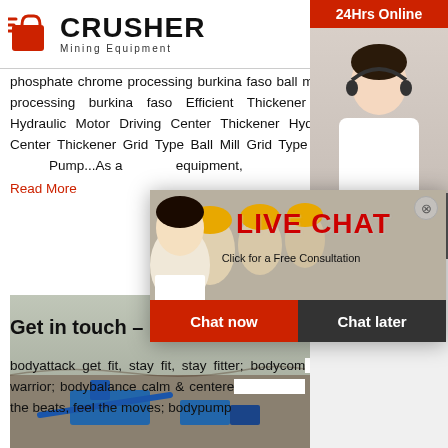CRUSHER Mining Equipment
phosphate chrome processing burkina faso ball mill phosphate chrome processing burkina faso Efficient Thickener Efficient Thickener Hydraulic Motor Driving Center Thickener Hydraulic Motor Driving Center Thickener Grid Type Ball Mill Grid Type Ball Mill Submerged Pump...As a mining equipment, Read More
[Figure (photo): Mining equipment and open pit mine site with blue machinery]
[Figure (screenshot): Live Chat popup overlay with construction workers in background, LIVE CHAT title, Click for a Free Consultation subtitle, Chat now and Chat later buttons]
Get in touch – Les Mills
bodyattack get fit, stay fit, stay fitter; bodycom... your inner warrior; bodybalance calm & centere... strong; bodyjam hear the beats, feel the moves; bodypump
[Figure (infographic): Right sidebar with 24Hrs Online banner, Need questions & suggestion with Chat Now button, Enquiry section, limingjlmofen@sina.com contact]